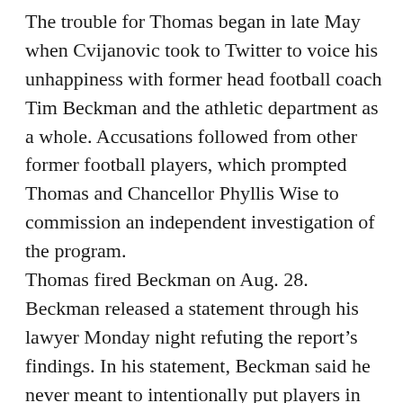The trouble for Thomas began in late May when Cvijanovic took to Twitter to voice his unhappiness with former head football coach Tim Beckman and the athletic department as a whole. Accusations followed from other former football players, which prompted Thomas and Chancellor Phyllis Wise to commission an independent investigation of the program. Thomas fired Beckman on Aug. 28. Beckman released a statement through his lawyer Monday night refuting the report's findings. In his statement, Beckman said he never meant to intentionally put players in harm's way. In regards to scholarships, Beckman said that the University governed the withdrawal and release of